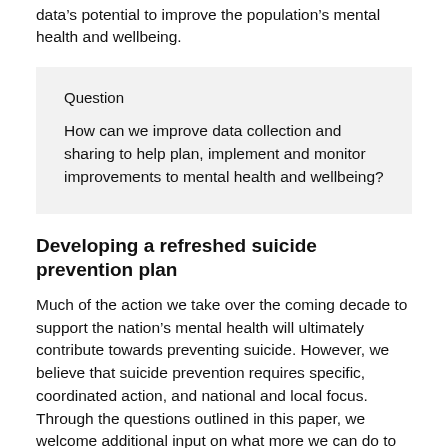data’s potential to improve the population’s mental health and wellbeing.
Question

How can we improve data collection and sharing to help plan, implement and monitor improvements to mental health and wellbeing?
Developing a refreshed suicide prevention plan
Much of the action we take over the coming decade to support the nation’s mental health will ultimately contribute towards preventing suicide. However, we believe that suicide prevention requires specific, coordinated action, and national and local focus. Through the questions outlined in this paper, we welcome additional input on what more we can do to prevent suicide. We intend to use this feedback to support the development of a separate suicide prevention plan from this consultation process. This will be lit...